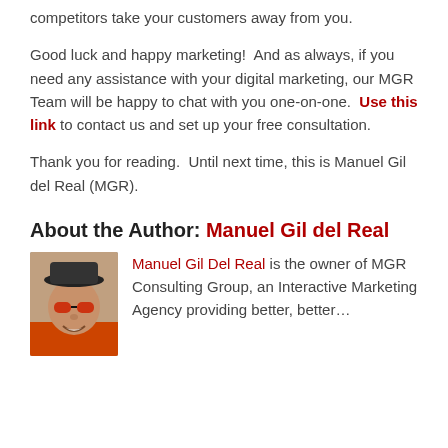competitors take your customers away from you.
Good luck and happy marketing!  And as always, if you need any assistance with your digital marketing, our MGR Team will be happy to chat with you one-on-one.  Use this link to contact us and set up your free consultation.
Thank you for reading.  Until next time, this is Manuel Gil del Real (MGR).
About the Author: Manuel Gil del Real
[Figure (photo): Photo of Manuel Gil del Real, a man wearing a hat and sunglasses, smiling]
Manuel Gil Del Real is the owner of MGR Consulting Group, an Interactive Marketing Agency providing better, better...